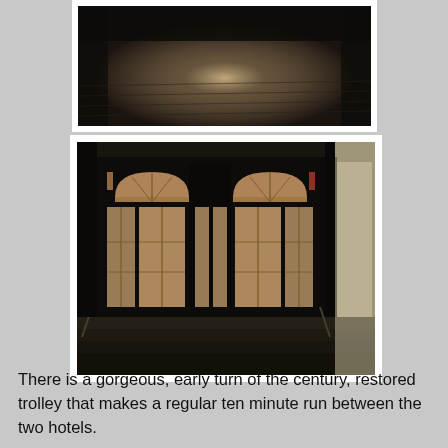[Figure (photo): Dark interior photo showing a reflective wet floor with light shining on it, appears to be a historic building interior.]
[Figure (photo): Dark photo of an ornate set of double doors with arched transom windows and tall glass panels with warm interior light glowing through, with steps leading up to the entrance.]
There is a gorgeous, early turn of the century, restored trolley that makes a regular ten minute run between the two hotels.